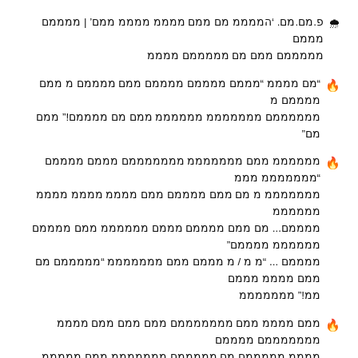🌨 פ.מם.מם. 'הממממ מם ממם ממממ ממממ ממם' | ממממם מממם מממממם ממם מם מממממם ממממ
🔥 "מם ממממ "מממם ממממם ממממם ממם ממממם מ ממם ממממם מ ממממממם מממממממ ממממממ ממם מם ממממם!" ממם מם"
🔥 ממממממ ממם מממממממ מממממממם מממם ממממם "מממממממ מממ מממממממ מ מם ממם ממממם ממם ממממ ממממ ממממ ממממממ ממממם... מם ממם ממממם מממם ממממממ ממם ממממם ממממממ ממממם" ממממם ... "מ מ / מ מממם ממם מממממממ "מממממם מם ממם ממממ מממם ממ!" מממממממ
🔥 ממם ממממ ממם מממממממם ממם ממם ממם ממממ מממממממם ממממם ממממ.מממממם מם מממממם מממממממ ממם מממממ